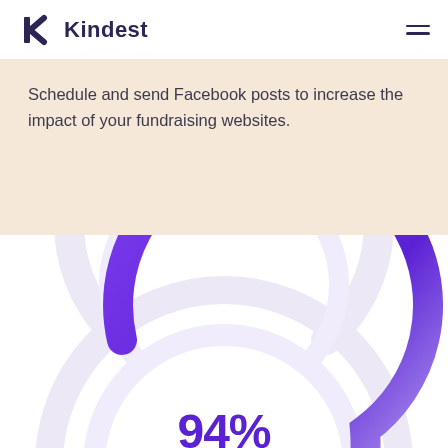Kindest
Schedule and send Facebook posts to increase the impact of your fundraising websites.
[Figure (donut-chart): Donut/gauge chart showing 94% with a purple arc on a light purple background ring, partially cropped at bottom of page]